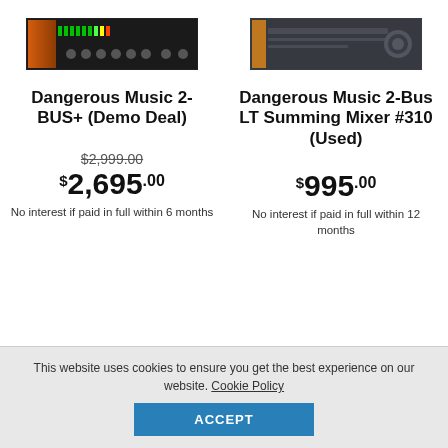[Figure (photo): Product photo of Dangerous Music 2-BUS+ rack unit (dark chassis with green meters)]
Dangerous Music 2-BUS+ (Demo Deal)
$2,999.00 (strikethrough) $2,695.00
No interest if paid in full within 6 months
[Figure (photo): Product photo of Dangerous Music 2-Bus LT Summing Mixer rack unit (dark grey chassis)]
Dangerous Music 2-Bus LT Summing Mixer #310 (Used)
$995.00
No interest if paid in full within 12 months
This website uses cookies to ensure you get the best experience on our website. Cookie Policy
ACCEPT